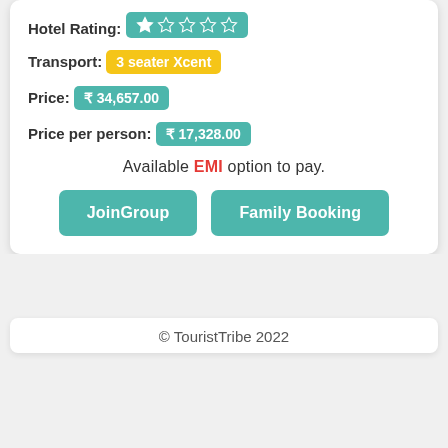Hotel Rating: ★★☆☆☆
Transport: 3 seater Xcent
Price: ₹ 34,657.00
Price per person: ₹ 17,328.00
Available EMI option to pay.
JoinGroup
Family Booking
© TouristTribe 2022